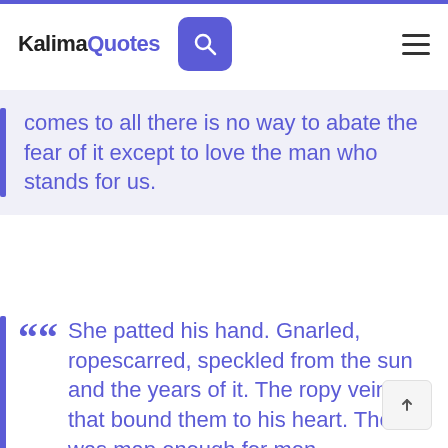KalimaQuotes
comes to all there is no way to abate the fear of it except to love the man who stands for us.
She patted his hand. Gnarled, ropescarred, speckled from the sun and the years of it. The ropy veins that bound them to his heart. There was map enough for men